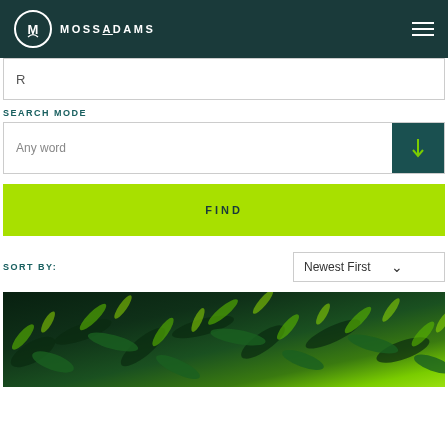MOSSADAMS
R
SEARCH MODE
Any word
FIND
SORT BY:
Newest First
[Figure (photo): Close-up photograph of green conifer/fern foliage with bright lime-green tips against dark background]